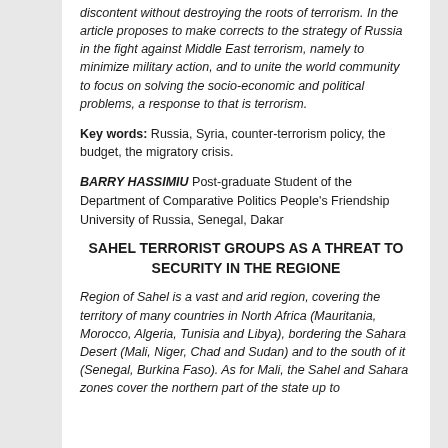discontent without destroying the roots of terrorism. In the article proposes to make corrects to the strategy of Russia in the fight against Middle East terrorism, namely to minimize military action, and to unite the world community to focus on solving the socio-economic and political problems, a response to that is terrorism.
Key words: Russia, Syria, counter-terrorism policy, the budget, the migratory crisis.
BARRY HASSIMIU Post-graduate Student of the Department of Comparative Politics People's Friendship University of Russia, Senegal, Dakar
SAHEL TERRORIST GROUPS AS A THREAT TO SECURITY IN THE REGIONE
Region of Sahel is a vast and arid region, covering the territory of many countries in North Africa (Mauritania, Morocco, Algeria, Tunisia and Libya), bordering the Sahara Desert (Mali, Niger, Chad and Sudan) and to the south of it (Senegal, Burkina Faso). As for Mali, the Sahel and Sahara zones cover the northern part of the state up to